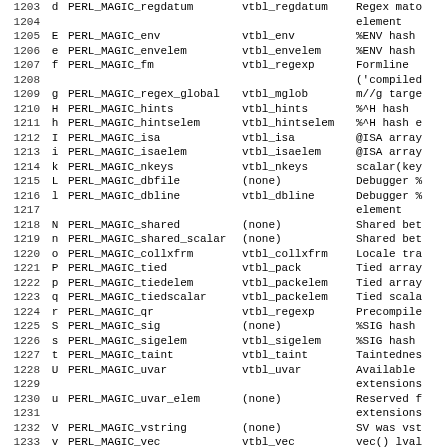| Line | Char | Name | VTable | Description |
| --- | --- | --- | --- | --- |
| 1203 | d | PERL_MAGIC_regdatum | vtbl_regdatum | Regex mato |
| 1204 |  |  |  | element |
| 1205 | E | PERL_MAGIC_env | vtbl_env | %ENV hash |
| 1206 | e | PERL_MAGIC_envelem | vtbl_envelem | %ENV hash |
| 1207 | f | PERL_MAGIC_fm | vtbl_regexp | Formline |
| 1208 |  |  |  | ('compiled |
| 1209 | g | PERL_MAGIC_regex_global | vtbl_mglob | m//g targe |
| 1210 | H | PERL_MAGIC_hints | vtbl_hints | %^H hash |
| 1211 | h | PERL_MAGIC_hintselem | vtbl_hintselem | %^H hash e |
| 1212 | I | PERL_MAGIC_isa | vtbl_isa | @ISA array |
| 1213 | i | PERL_MAGIC_isaelem | vtbl_isaelem | @ISA array |
| 1214 | k | PERL_MAGIC_nkeys | vtbl_nkeys | scalar(key |
| 1215 | L | PERL_MAGIC_dbfile | (none) | Debugger % |
| 1216 | l | PERL_MAGIC_dbline | vtbl_dbline | Debugger % |
| 1217 |  |  |  | element |
| 1218 | N | PERL_MAGIC_shared | (none) | Shared bet |
| 1219 | n | PERL_MAGIC_shared_scalar | (none) | Shared bet |
| 1220 | o | PERL_MAGIC_collxfrm | vtbl_collxfrm | Locale tra |
| 1221 | P | PERL_MAGIC_tied | vtbl_pack | Tied array |
| 1222 | p | PERL_MAGIC_tiedelem | vtbl_packelem | Tied array |
| 1223 | q | PERL_MAGIC_tiedscalar | vtbl_packelem | Tied scala |
| 1224 | r | PERL_MAGIC_qr | vtbl_regexp | Precompile |
| 1225 | S | PERL_MAGIC_sig | (none) | %SIG hash |
| 1226 | s | PERL_MAGIC_sigelem | vtbl_sigelem | %SIG hash |
| 1227 | t | PERL_MAGIC_taint | vtbl_taint | Taintednes |
| 1228 | U | PERL_MAGIC_uvar | vtbl_uvar | Available |
| 1229 |  |  |  | extensions |
| 1230 | u | PERL_MAGIC_uvar_elem | (none) | Reserved f |
| 1231 |  |  |  | extensions |
| 1232 | V | PERL_MAGIC_vstring | (none) | SV was vst |
| 1233 | v | PERL_MAGIC_vec | vtbl_vec | vec() lval |
| 1234 | w | PERL_MAGIC_utf8 | vtbl_utf8 | Cached UTF |